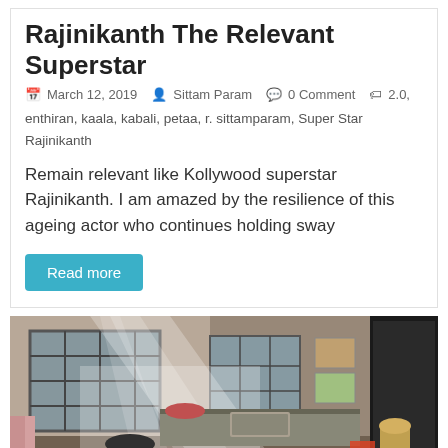Rajinikanth The Relevant Superstar
March 12, 2019  Sittam Param  0 Comment  2.0, enthiran, kaala, kabali, petaa, r. sittamparam, Super Star Rajinikanth
Remain relevant like Kollywood superstar Rajinikanth. I am amazed by the resilience of this ageing actor who continues holding sway
Read more
[Figure (photo): Interior photo of a kitchen with sunlight streaming through barred windows, dishes and cookware visible, smoke or steam in the air]